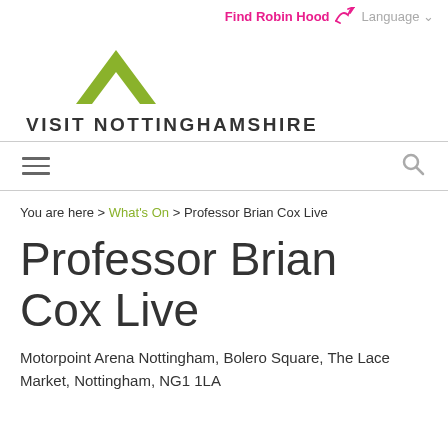Find Robin Hood  Language
[Figure (logo): Visit Nottinghamshire logo with green chevron/arrow mark above the text VISIT NOTTINGHAMSHIRE]
Menu and Search icons
You are here > What's On > Professor Brian Cox Live
Professor Brian Cox Live
Motorpoint Arena Nottingham, Bolero Square, The Lace Market, Nottingham, NG1 1LA